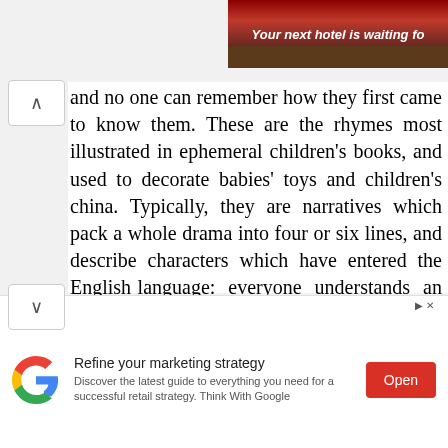[Figure (other): Top banner advertisement showing 'Your next hotel is waiting fo' text on a dark red/brown background with landscape image strip]
and no one can remember how they first came to know them. These are the rhymes most illustrated in ephemeral children's books, and used to decorate babies' toys and children's china. Typically, they are narratives which pack a whole drama into four or six lines, and describe characters which have entered the English language: everyone understands an sion to the Grand Old Duke of York's
[Figure (other): Google advertisement: 'Refine your marketing strategy' - Discover the latest guide to everything you need for a successful retail strategy. Think With Google. Open button.]